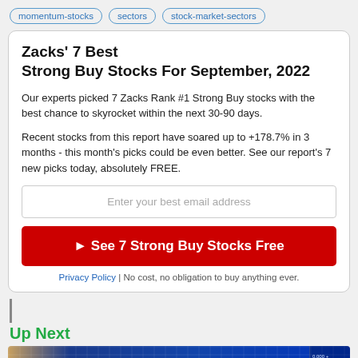momentum-stocks   sectors   stock-market-sectors
Zacks' 7 Best Strong Buy Stocks For September, 2022
Our experts picked 7 Zacks Rank #1 Strong Buy stocks with the best chance to skyrocket within the next 30-90 days.
Recent stocks from this report have soared up to +178.7% in 3 months - this month's picks could be even better. See our report's 7 new picks today, absolutely FREE.
Enter your best email address
▶ See 7 Strong Buy Stocks Free
Privacy Policy | No cost, no obligation to buy anything ever.
Up Next
[Figure (photo): Stock market data display showing colorful bar charts and numerical data on a blue digital screen background]